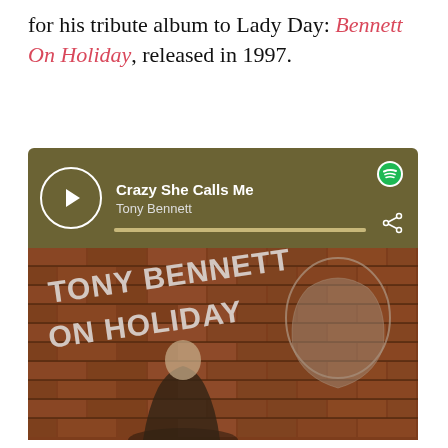for his tribute album to Lady Day: Bennett On Holiday, released in 1997.
[Figure (screenshot): Spotify music player widget showing 'Crazy She Calls Me' by Tony Bennett, with a play button, progress bar, Spotify logo, and share icon. Below the player controls is the album cover for 'Tony Bennett On Holiday' showing an elderly Tony Bennett standing in front of a brick wall with a mural painting of his younger self, with graffiti-style text reading 'TONY BENNETT ON HOLIDAY'.]